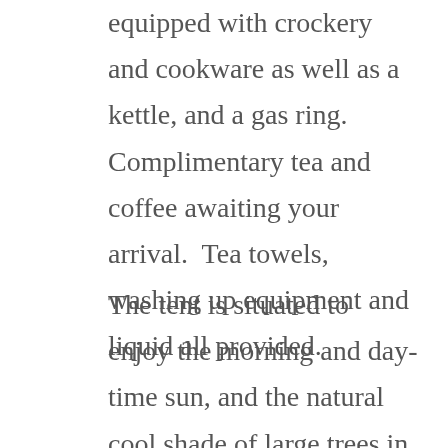equipped with crockery and cookware as well as a kettle, and a gas ring. Complimentary tea and coffee awaiting your arrival.  Tea towels, washing up equipment and liquid all provided.
The tent is situated to enjoy the morning and day-time sun, and the natural cool shade of large trees in the evenings, to ensure a comfortable night.  On the lawn you'll find a